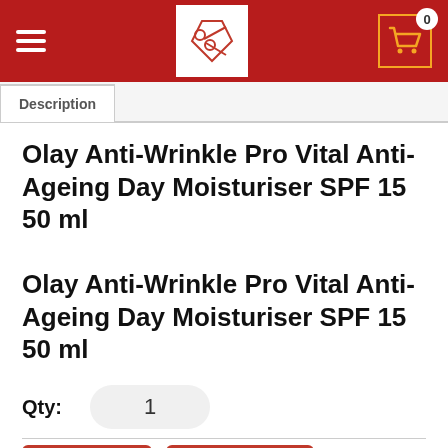Navigation bar with hamburger menu, logo, and cart icon showing 0 items
Description
Olay Anti-Wrinkle Pro Vital Anti-Ageing Day Moisturiser SPF 15 50 ml
Olay Anti-Wrinkle Pro Vital Anti-Ageing Day Moisturiser SPF 15 50 ml
Qty: 1
Buy Now  Add to Cart